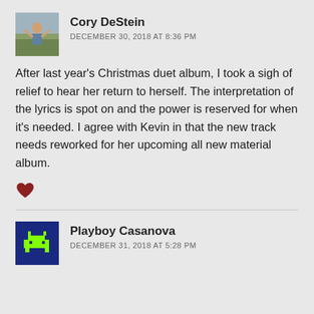[Figure (photo): Avatar photo of Cory DeStein - outdoor scene with person]
Cory DeStein
DECEMBER 30, 2018 AT 8:36 PM
After last year’s Christmas duet album, I took a sigh of relief to hear her return to herself. The interpretation of the lyrics is spot on and the power is reserved for when it’s needed. I agree with Kevin in that the new track needs reworked for her upcoming all new material album.
[Figure (illustration): Heart/like icon in dark red]
[Figure (illustration): Avatar image of Playboy Casanova - pixel art space invader style on dark blue background]
Playboy Casanova
DECEMBER 31, 2018 AT 5:28 PM